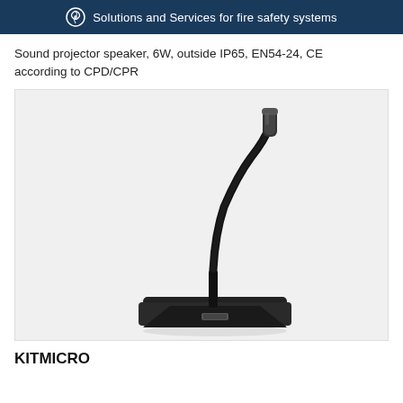Solutions and Services for fire safety systems
Sound projector speaker, 6W, outside IP65, EN54-24, CE according to CPD/CPR
[Figure (photo): A black gooseneck desktop microphone with a cylindrical capsule head on a flexible neck mounted on a rectangular base unit with a button, shown on a light grey background.]
KITMICRO